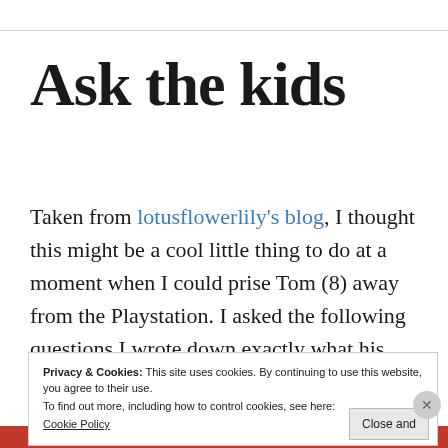Ask the kids
Taken from lotusflowerlily's blog, I thought this might be a cool little thing to do at a moment when I could prise Tom (8) away from the Playstation. I asked the following questions I wrote down exactly what his
Privacy & Cookies: This site uses cookies. By continuing to use this website, you agree to their use.
To find out more, including how to control cookies, see here:
Cookie Policy
Close and accept